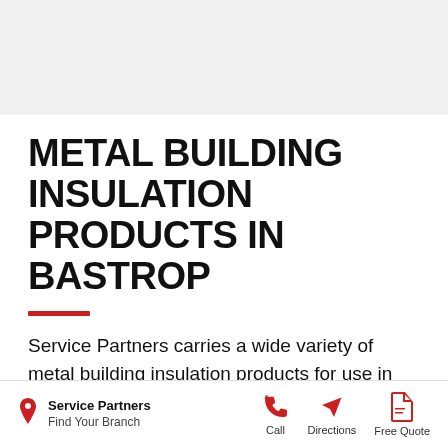METAL BUILDING INSULATION PRODUCTS IN BASTROP
Service Partners carries a wide variety of metal building insulation products for use in Bastrop, Texas. We make all of our MBI in house and can can
Service Partners | Find Your Branch | Call | Directions | Free Quote